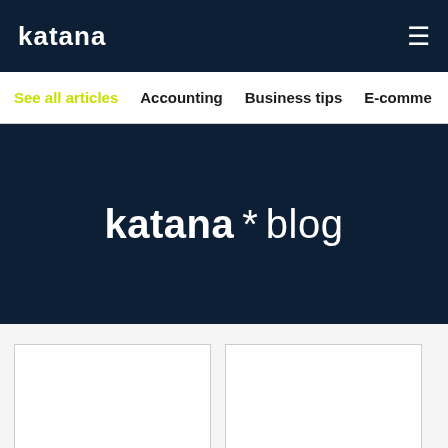katana
See all articles | Accounting | Business tips | E-commerce
katana * blog
[Figure (other): Two blank white card placeholders at the bottom of the page]